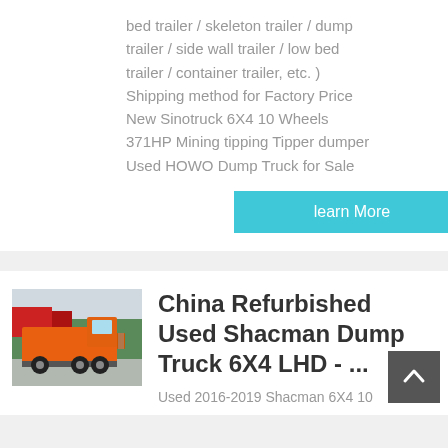bed trailer / skeleton trailer / dump trailer / side wall trailer / low bed trailer / container trailer, etc. ) Shipping method for Factory Price New Sinotruck 6X4 10 Wheels 371HP Mining tipping Tipper dumper Used HOWO Dump Truck for Sale
learn More
[Figure (photo): Orange Shacman dump truck / tractor unit parked outdoors with trees and red banner in background]
China Refurbished Used Shacman Dump Truck 6X4 LHD - ...
Used 2016-2019 Shacman 6X4 10